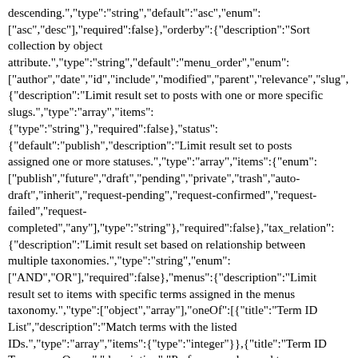descending.","type":"string","default":"asc","enum": ["asc","desc"],"required":false},"orderby":{"description":"Sort collection by object attribute.","type":"string","default":"menu_order","enum": ["author","date","id","include","modified","parent","relevance","slug", {"description":"Limit result set to posts with one or more specific slugs.","type":"array","items": {"type":"string"},"required":false},"status": {"default":"publish","description":"Limit result set to posts assigned one or more statuses.","type":"array","items":{"enum": ["publish","future","draft","pending","private","trash","auto-draft","inherit","request-pending","request-confirmed","request-failed","request-completed","any"],"type":"string"},"required":false},"tax_relation": {"description":"Limit result set based on relationship between multiple taxonomies.","type":"string","enum": ["AND","OR"],"required":false},"menus":{"description":"Limit result set to items with specific terms assigned in the menus taxonomy.","type":["object","array"],"oneOf":[{"title":"Term ID List","description":"Match terms with the listed IDs.","type":"array","items":{"type":"integer"}},{"title":"Term ID Taxonomy Query","description":"Perform an advanced term query.","type":"object","properties":{"terms":{"description":"Term IDs.","type":"array","items":{"type":"integer"},"default": []},"operator":{"description":"Whether items must be assigned all